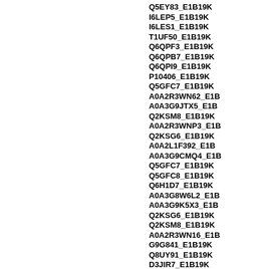Q5EY83_E1B19K
I6LEP5_E1B19K
I6LES1_E1B19K
T1UF50_E1B19K
Q6QPF3_E1B19K
Q6QPB7_E1B19K
Q6QPI9_E1B19K
P10406_E1B19K
Q5GFC7_E1B19K
A0A2R3WN62_E1B
A0A3G9JTX5_E1B
Q2KSM8_E1B19K
A0A2R3WNP3_E1B
Q2KSG6_E1B19K
A0A2L1F392_E1B
A0A3G9CMQ4_E1B
Q5GFC7_E1B19K
Q5GFC8_E1B19K
Q6H1D7_E1B19K
A0A3G8W6L2_E1B
A0A3G9K5X3_E1B
Q2KSG6_E1B19K
Q2KSM8_E1B19K
A0A2R3WN16_E1B
G9G841_E1B19K
Q8UY91_E1B19K
D3JIR7_E1B19K
A0A076V686_E1B
A0A5H2QAX5_E1B
G1DE13_E1B19K